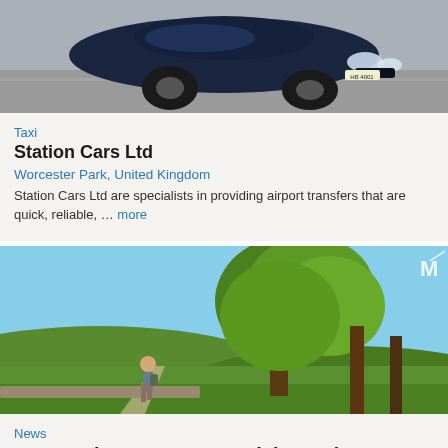[Figure (photo): Dark blue luxury car driving on road, front three-quarter view]
Taxi
Station Cars Ltd
Worcester Park, United Kingdom
Station Cars Ltd are specialists in providing airport transfers that are quick, reliable, … more
[Figure (photo): Person walking on a countryside path beside large green leafy trees under blue sky, Scotland]
News
New Projects to Set Scottish Tourism Sector on Road to …
United Kingdom
Edinburgh, Scotland, United Kingdom, February 19, 2022 / TRAVELINDEX / The Travel Foundation … more